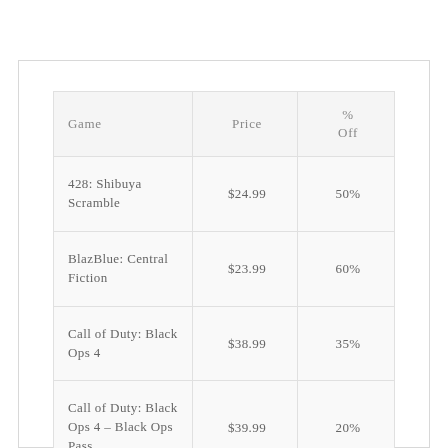| Game | Price | % Off |
| --- | --- | --- |
| 428: Shibuya Scramble | $24.99 | 50% |
| BlazBlue: Central Fiction | $23.99 | 60% |
| Call of Duty: Black Ops 4 | $38.99 | 35% |
| Call of Duty: Black Ops 4 – Black Ops Pass | $39.99 | 20% |
| Call of Duty: Black Ops 4 – Digital Deluxe | $84.99 | 15% |
| Call of Duty: Black Ops 4 – Digital | $109.1 |  |